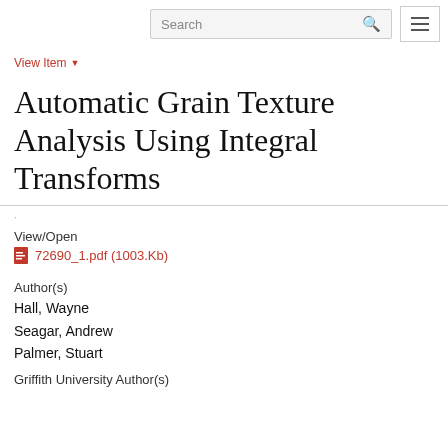Search
View Item
Automatic Grain Texture Analysis Using Integral Transforms
·
View/Open
72690_1.pdf (1003.Kb)
Author(s)
Hall, Wayne
Seagar, Andrew
Palmer, Stuart
Griffith University Author(s)